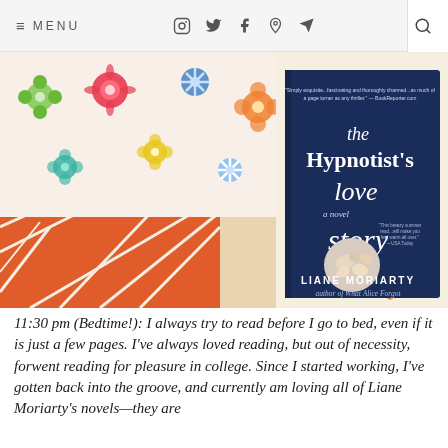≡ MENU  [instagram] [twitter] [facebook] [pinterest] [email]  [search]
[Figure (photo): A photo of the book 'The Hypnotist's Love Story' by Liane Moriarty, propped against colorful floral patterned quilts and an orange geometric quilt. The book cover is dark navy blue with white lettering.]
11:30 pm (Bedtime!): I always try to read before I go to bed, even if it is just a few pages. I've always loved reading, but out of necessity, forwent reading for pleasure in college. Since I started working, I've gotten back into the groove, and currently am loving all of Liane Moriarty's novels—they are